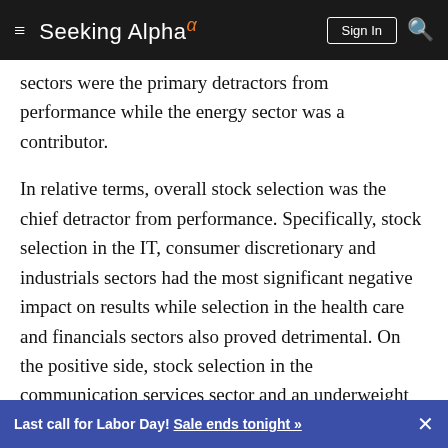Seeking Alpha — Sign In [search]
sectors were the primary detractors from performance while the energy sector was a contributor.
In relative terms, overall stock selection was the chief detractor from performance. Specifically, stock selection in the IT, consumer discretionary and industrials sectors had the most significant negative impact on results while selection in the health care and financials sectors also proved detrimental. On the positive side, stock selection in the communication services sector and an underweight to the sector contributed to performance.
Last call for Labor Day! Sale ends tonight »